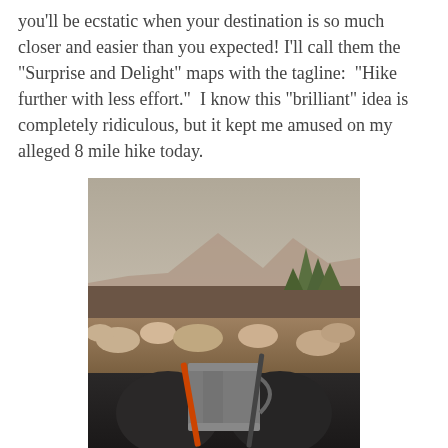you'll be ecstatic when your destination is so much closer and easier than you expected! I'll call them the "Surprise and Delight" maps with the tagline:  "Hike further with less effort."  I know this "brilliant" idea is completely ridiculous, but it kept me amused on my alleged 8 mile hike today.
[Figure (photo): Outdoor hiking scene: a metal camp cup and trekking pole resting on hiker's lap with rocky terrain, forest, and a mountain in the background under a hazy grey sky.]